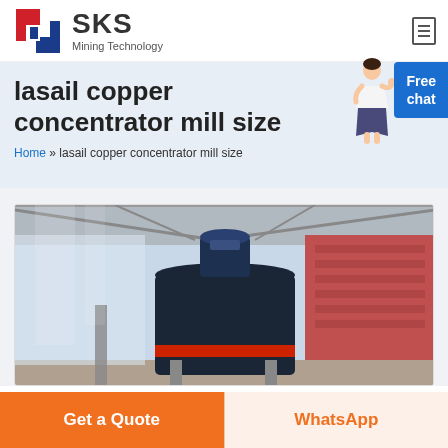[Figure (logo): SKS Mining Technology logo with red/blue diamond-S icon and company name]
lasail copper concentrator mill size
Home » lasail copper concentrator mill size
[Figure (photo): Industrial mill equipment (large black cylindrical concentrator) inside a warehouse/factory building with metal roof structure]
Get a Quote
WhatsApp